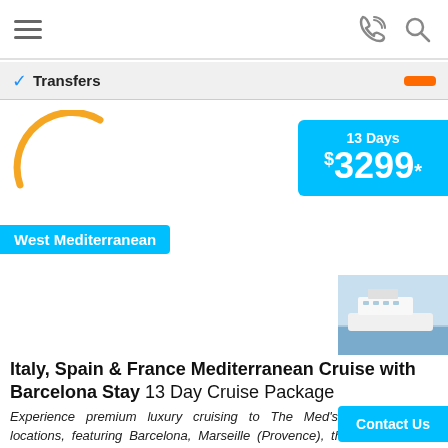Navigation bar with hamburger menu, phone icon, and search icon
✓ Transfers
[Figure (logo): Orange arc logo (partial circle) on white background]
13 Days $3299*
West Mediterranean
[Figure (photo): Cruise ship photo on blue water]
Italy, Spain & France Mediterranean Cruise with Barcelona Stay 13 Day Cruise Package
Experience premium luxury cruising to The Med's most romantic locations, featuring Barcelona, Marseille (Provence), the Italian Riviera (Portofino, Genoa), Naples (Amalfi Coast), Sicily and spectacular Malta. These 5 incredible ports-of-call and an enchanting stay in Barcelona will tug on the heartstrings forever. Live the cultured Spa...